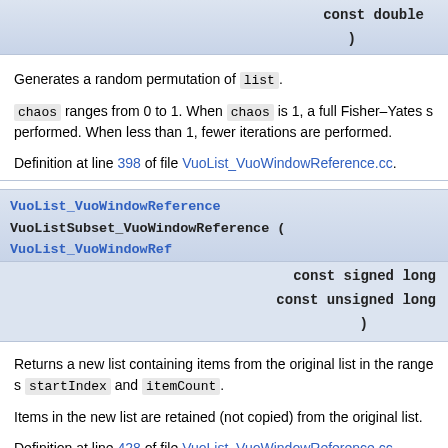const double
)
Generates a random permutation of list.
chaos ranges from 0 to 1. When chaos is 1, a full Fisher–Yates shuffle is performed. When less than 1, fewer iterations are performed.
Definition at line 398 of file VuoList_VuoWindowReference.cc.
VuoList_VuoWindowReference VuoListSubset_VuoWindowReference ( VuoList_VuoWindowRef...
const signed long
const unsigned long
)
Returns a new list containing items from the original list in the range specified by startIndex and itemCount.
Items in the new list are retained (not copied) from the original list.
Definition at line 428 of file VuoList_VuoWindowReference.cc.